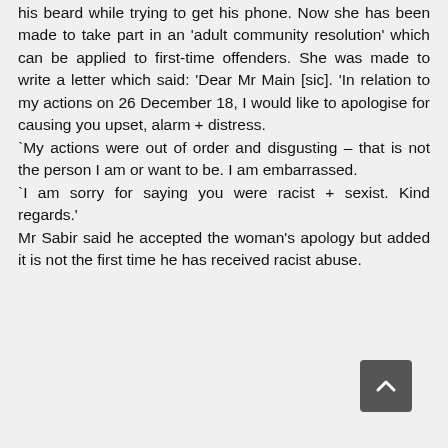his beard while trying to get his phone. Now she has been made to take part in an 'adult community resolution' which can be applied to first-time offenders. She was made to write a letter which said: 'Dear Mr Main [sic]. 'In relation to my actions on 26 December 18, I would like to apologise for causing you upset, alarm + distress.
`My actions were out of order and disgusting – that is not the person I am or want to be. I am embarrassed.
`I am sorry for saying you were racist + sexist. Kind regards.'
Mr Sabir said he accepted the woman's apology but added it is not the first time he has received racist abuse.
[Figure (other): Scroll-to-top button (dark grey square with upward arrow chevron) in the bottom-right corner.]